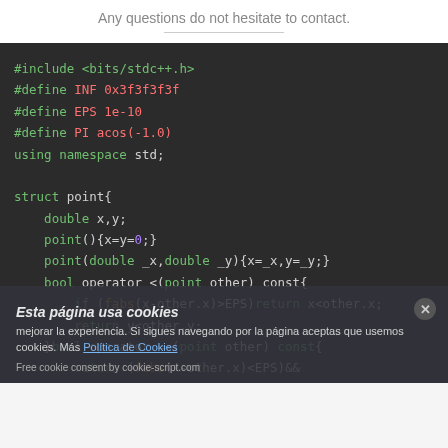Any questions do not hesitate to contact.
[Figure (other): Hamburger menu icon (three red horizontal bars) in top right corner]
#include <bits/stdc++.h>
#define INF 0x3f3f3f3f
#define EPS 1e-10
#define PI acos(-1.0)
using namespace std;

struct point{
    double x,y;
    point(){x=y=0;}
    point(double _x,double _y){x=_x,y=_y;}
    bool operator <(point other) const{
        if (fabs(x-other.x)>EPS)return x<other.x;
        return y<other.y;
    }bool operator ==(point other) const{
        return (fabs(x-other.x)<EPS)&&
        (fabs(y-other.y)<EPS);
    }
};